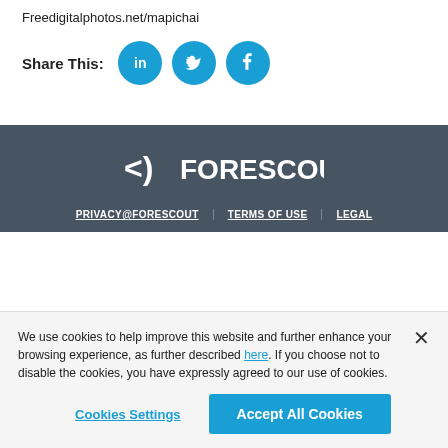Freedigitalphotos.net/mapichai
Share This:
[Figure (logo): Forescout logo in white on dark background]
PRIVACY@FORESCOUT | TERMS OF USE | LEGAL
We use cookies to help improve this website and further enhance your browsing experience, as further described here. If you choose not to disable the cookies, you have expressly agreed to our use of cookies.
Cookies Settings | Accept All Cookies